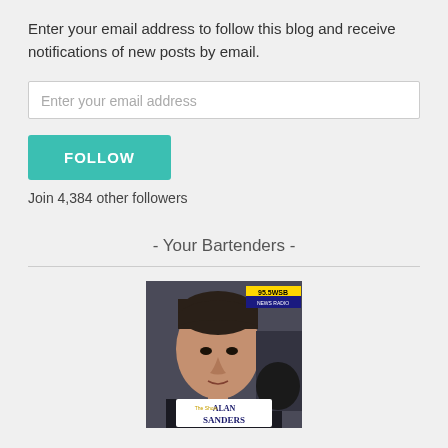Enter your email address to follow this blog and receive notifications of new posts by email.
Enter your email address
FOLLOW
Join 4,384 other followers
- Your Bartenders -
[Figure (photo): Photo of Alan Sanders at a radio microphone, with 95.5 WSB station logo visible. Name badge reads Alan Sanders with 'The Show' branding.]